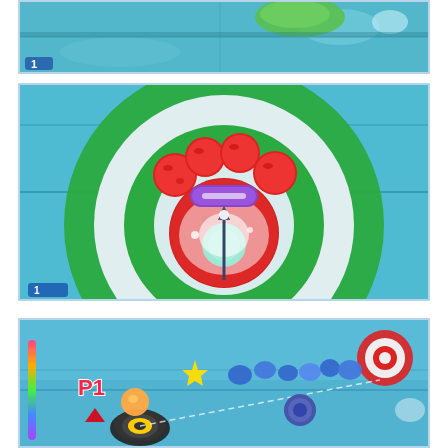[Figure (screenshot): Video game screenshot showing top-down view of a curling rink with blue/teal ice, a green leaf or object in upper area, and score indicator showing '1' in upper left corner.]
[Figure (screenshot): Video game screenshot showing an overhead view of a curling target/house on blue-green ice. A large strawberry-shaped curling stone sits in the center red circle, with multiple smaller red strawberry stones clustered around a purple stone near the top. Bright light glows from the center.]
[Figure (screenshot): Video game screenshot showing a curling rink from a low angle. A 'P1' label with red triangle arrow appears in the lower left. A character with a black/yellow curling stone is visible in the foreground. Multiple colorful characters and curling stones appear in the background on blue ice. A target/house is visible in the upper right.]